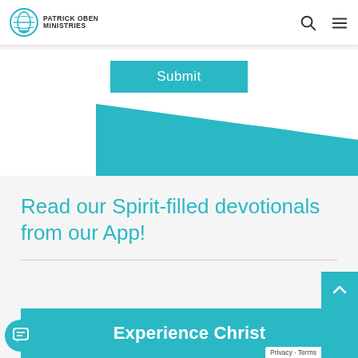Patrick Oben Ministries
Submit
[Figure (illustration): Teal decorative wave/diagonal shape at the bottom of a white section area]
Read our Spirit-filled devotionals from our App!
Experience Christ